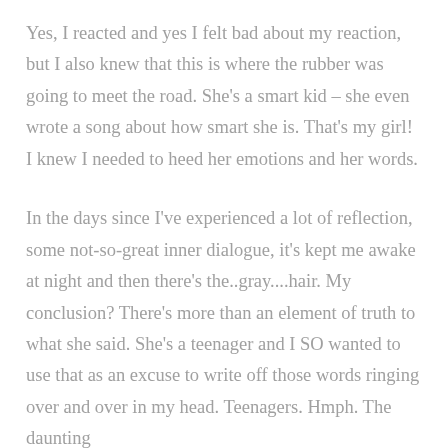Yes, I reacted and yes I felt bad about my reaction, but I also knew that this is where the rubber was going to meet the road. She's a smart kid – she even wrote a song about how smart she is. That's my girl! I knew I needed to heed her emotions and her words.
In the days since I've experienced a lot of reflection, some not-so-great inner dialogue, it's kept me awake at night and then there's the..gray....hair. My conclusion? There's more than an element of truth to what she said. She's a teenager and I SO wanted to use that as an excuse to write off those words ringing over and over in my head. Teenagers. Hmph. The daunting